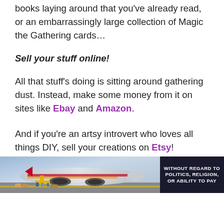books laying around that you've already read, or an embarrassingly large collection of Magic the Gathering cards…
Sell your stuff online!
All that stuff's doing is sitting around gathering dust. Instead, make some money from it on sites like Ebay and Amazon.
And if you're an artsy introvert who loves all things DIY, sell your creations on Etsy!
I absolutely adore Etsy because it's like the nerd
[Figure (photo): Advertisement banner showing an airplane being loaded with cargo, alongside a dark panel with text 'WITHOUT REGARD TO POLITICS, RELIGION, OR ABILITY TO PAY']